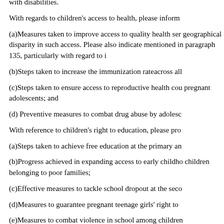with disabilities.
With regards to children's access to health, please inform
(a)Measures taken to improve access to quality health ser geographical disparity in such access. Please also indicate mentioned in paragraph 135, particularly with regard to i
(b)Steps taken to increase the immunization rateacross all
(c)Steps taken to ensure access to reproductive health cou pregnant adolescents; and
(d) Preventive measures to combat drug abuse by adolesc
With reference to children's right to education, please pro
(a)Steps taken to achieve free education at the primary an
(b)Progress achieved in expanding access to early childho children belonging to poor families;
(c)Effective measures to tackle school dropout at the seco
(d)Measures to guarantee pregnant teenage girls' right to
(e)Measures to combat violence in school among children